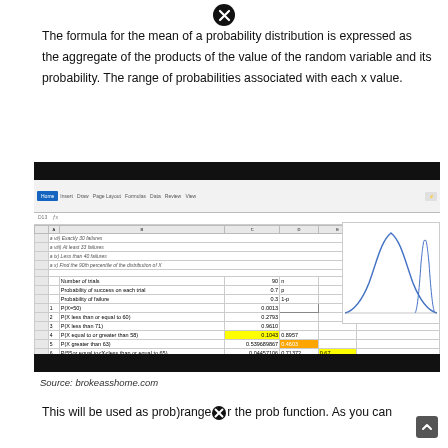The formula for the mean of a probability distribution is expressed as the aggregate of the products of the value of the random variable and its probability. The range of probabilities associated with each x value.
[Figure (screenshot): Excel spreadsheet screenshot showing binomial distribution probability calculations with a bell curve chart. Rows include Number of trials (90, n), Probability of success on each trial (0.7, p), Probability of failure (0.3, 1-p), and probability calculations: 1 P(X=50) 0.0013, 2 P(X less than or equal to 60) 0.2793, 3 P(X less than 71) 0.9610, 4 P(X equal to or greater than 58) 0.1043 / 0.8957, 5 P(X greater than 63) 0.539689867 / 0.4603, 6 P(55or equal to<X<less than or equal to 65) 0.04457106 / 0.71372 / 0.67]
Source: brokeasshome.com
This will be used as prob)rangeⓧr the prob function. As you can